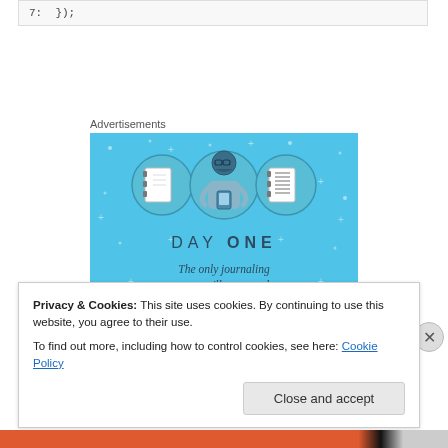7:  });
Advertisements
[Figure (illustration): Day One journaling app advertisement banner with blue background, showing three circle icons (blank notebook, person holding phone, lined notebook) and the text 'DAY ONE - The only journaling app you'll ever need.']
Privacy & Cookies: This site uses cookies. By continuing to use this website, you agree to their use.
To find out more, including how to control cookies, see here: Cookie Policy
Close and accept